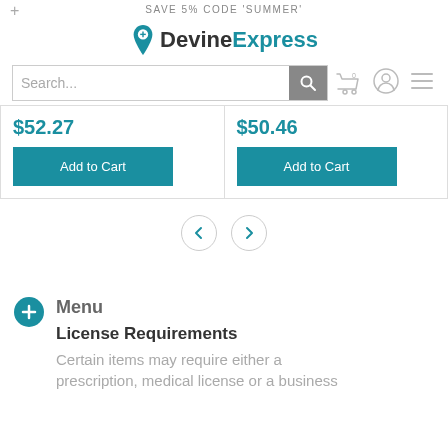SAVE 5% CODE 'SUMMER'
[Figure (logo): DevineExpress logo with location pin icon]
[Figure (screenshot): Search bar with search button]
$52.27
Add to Cart
$50.46
Add to Cart
[Figure (other): Carousel navigation arrows left and right]
Menu
License Requirements
Certain items may require either a prescription, medical license or a business